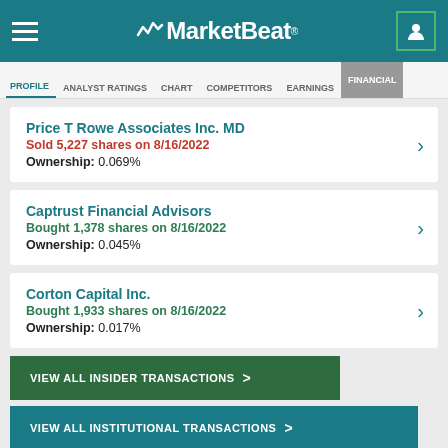MarketBeat
PROFILE  ANALYST RATINGS  CHART  COMPETITORS  EARNINGS  FINANCIAL
Price T Rowe Associates Inc. MD
Sold 5,227 shares on 8/16/2022
Ownership: 0.069%
Captrust Financial Advisors
Bought 1,378 shares on 8/16/2022
Ownership: 0.045%
Corton Capital Inc.
Bought 1,933 shares on 8/16/2022
Ownership: 0.017%
VIEW ALL INSIDER TRANSACTIONS >
VIEW ALL INSTITUTIONAL TRANSACTIONS >